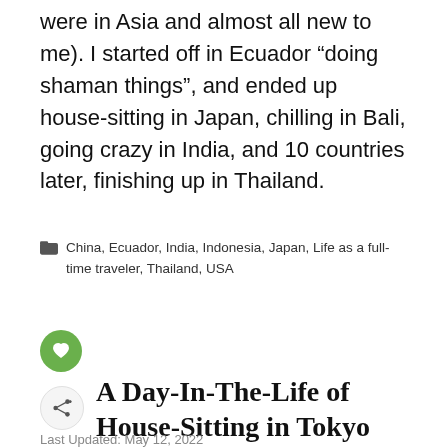were in Asia and almost all new to me). I started off in Ecuador “doing shaman things”, and ended up house-sitting in Japan, chilling in Bali, going crazy in India, and 10 countries later, finishing up in Thailand.
China, Ecuador, India, Indonesia, Japan, Life as a full-time traveler, Thailand, USA
A Day-In-The-Life of House-Sitting in Tokyo (VLOG Ep. 20)
Last Updated: May 12, 2022